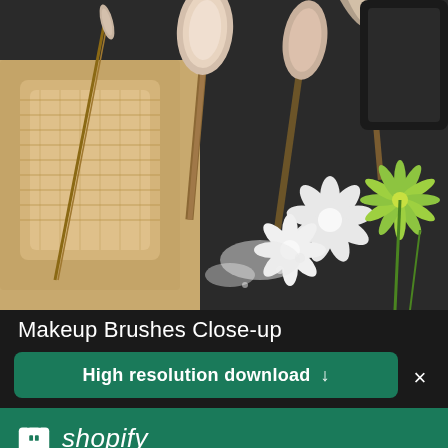[Figure (photo): Close-up photo of makeup brushes with various types of powder brushes, a cloth roll case, white and yellow flowers, scattered powder on a dark slate surface]
Makeup Brushes Close-up
High resolution download ↓
[Figure (logo): Shopify logo with shopping bag icon and italic wordmark]
Need an online store for your business?
Start free trial